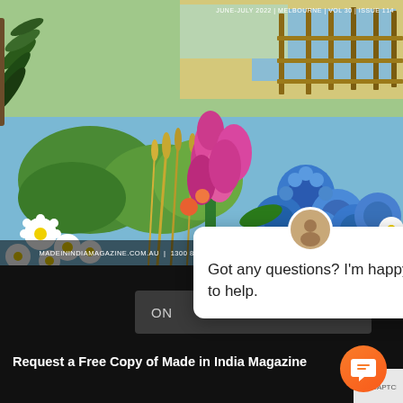[Figure (illustration): Magazine cover of Made in India Magazine showing a painted floral scene with blue cornflowers, pink flowers, white daisies, wheat stalks, green foliage, and a wooden fence in the background under a blue sky. Text overlay at bottom: MADEININDIAMAGAZINE.COM.AU | 1300 8 INDIA | CONNECT@MADEININDIA...COM.AU. Top right: JUNE-JULY 2022 | MELBOURNE | VOL 30 | ISSUE 114]
[Figure (screenshot): White chat popup box with a circular avatar at the top, an X close button, and the text 'Got any questions? I'm happy to help.']
ON
Request a Free Copy of Made in India Magazine
[Figure (illustration): Orange circular chat bubble icon button in bottom right corner]
[Figure (illustration): Small grey verified badge area at bottom right]